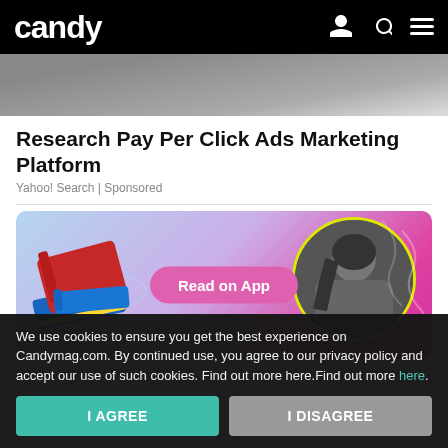candy
[Figure (screenshot): Laptop keyboard partial image at top of page]
Research Pay Per Click Ads Marketing Platform
Yahoo! Search | Sponsored
[Figure (infographic): Promotional banner with books illustration, circular photo of student writing, and 'Read on App' button on pink/blue gradient background]
We use cookies to ensure you get the best experience on Candymag.com. By continued use, you agree to our privacy policy and accept our use of such cookies. Find out more here.Find out more here.
I AGREE
I DISAGREE